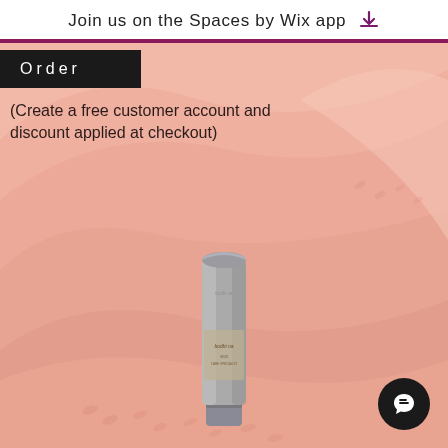Join us on the Spaces by Wix app ↓
Order
(Create a free customer account and discount applied at checkout)
[Figure (photo): Pink/rose sand dunes desert landscape background with soft undulating hills in pastel salmon tones]
[Figure (photo): Skin care product tube (grey/taupe colored) with label text, standing upright on desert background]
[Figure (other): Dark circular chat/message button with speech bubble icon in bottom right corner]